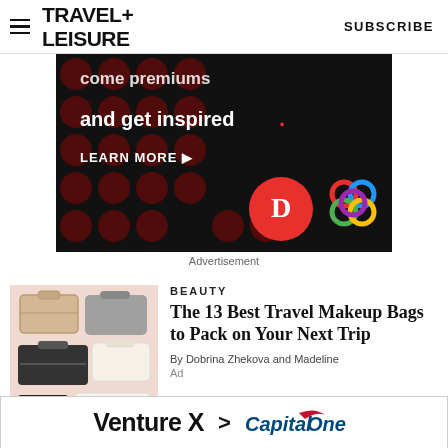TRAVEL+
LEISURE   SUBSCRIBE
[Figure (screenshot): Advertisement banner with dark background, red polka dots, text 'and get inspired.' with a red period, LEARN MORE button, and logos for Discover and a colorful knot pattern brand]
Advertisement
BEAUTY
[Figure (photo): Collection of travel makeup bags in various styles: tan structured case, grey felt pouch, black and white cosmetic cases on a pink background]
The 13 Best Travel Makeup Bags to Pack on Your Next Trip
By Dobrina Zhekova and Madeline
[Figure (screenshot): Capital One Venture X credit card advertisement: 'Venture X > CapitalOne' with Capital One logo]